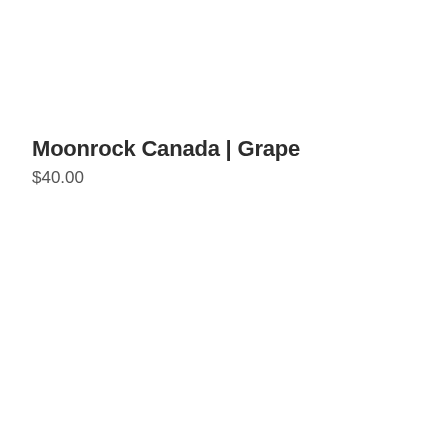Moonrock Canada | Grape
$40.00